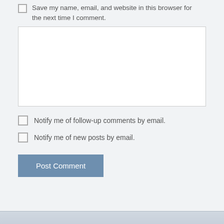Save my name, email, and website in this browser for the next time I comment.
[Figure (other): Large empty textarea for comment input]
Notify me of follow-up comments by email.
Notify me of new posts by email.
Post Comment